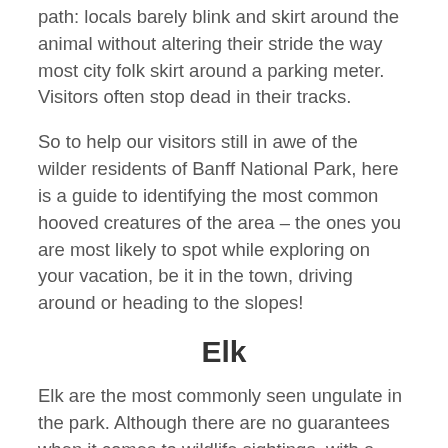path: locals barely blink and skirt around the animal without altering their stride the way most city folk skirt around a parking meter.  Visitors often stop dead in their tracks.
So to help our visitors still in awe of the wilder residents of Banff National Park, here is a guide to identifying the most common hooved creatures of the area – the ones you are most likely to spot while exploring on your vacation, be it in the town, driving around or heading to the slopes!
Elk
Elk are the most commonly seen ungulate in the park. Although there are no guarantees when it comes to wildlife sightings, with a healthy elk population of more than 200 living near the town area, elk are the one large